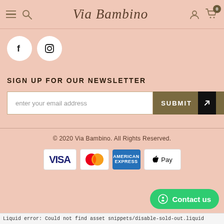Via Bambino
[Figure (logo): Facebook and Instagram social media icons as white circles]
SIGN UP FOR OUR NEWSLETTER
enter your email address
SUBMIT
© 2020 Via Bambino. All Rights Reserved.
[Figure (infographic): Payment method logos: VISA, Mastercard, American Express, Apple Pay]
Contact us
Liquid error: Could not find asset snippets/disable-sold-out.liquid